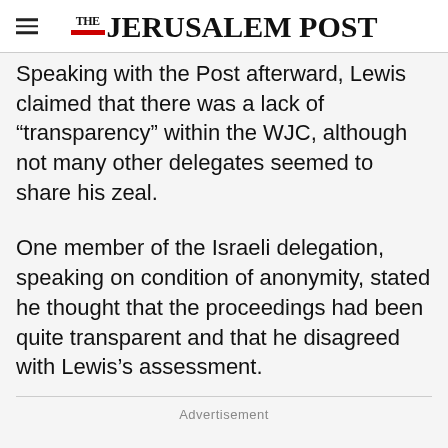THE JERUSALEM POST
Speaking with the Post afterward, Lewis claimed that there was a lack of “transparency” within the WJC, although not many other delegates seemed to share his zeal.
One member of the Israeli delegation, speaking on condition of anonymity, stated he thought that the proceedings had been quite transparent and that he disagreed with Lewis’s assessment.
Advertisement